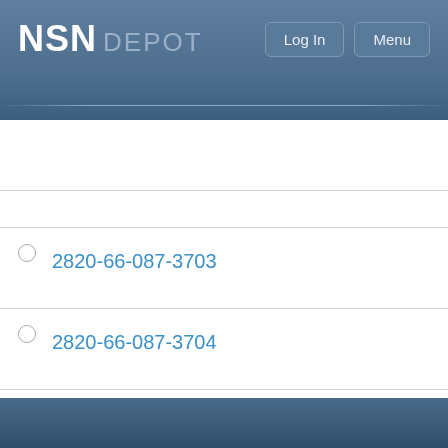NSN DEPOT
Search NSN, NIIN, Part Number or Keywords
2820-66-087-3703
2820-66-087-3704